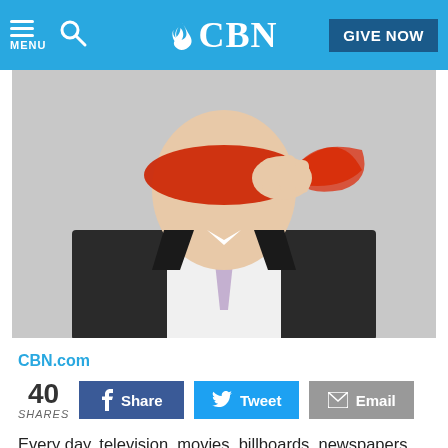CBN - MENU | Search | GIVE NOW
[Figure (photo): Man in a dark suit and lavender tie removing a red fabric blindfold from his eyes, against a light background.]
CBN.com
40 SHARES | Share | Tweet | Email
Every day, television, movies, billboards, newspapers and magazines bombard us with lustful images. And when lustful thoughts become part of